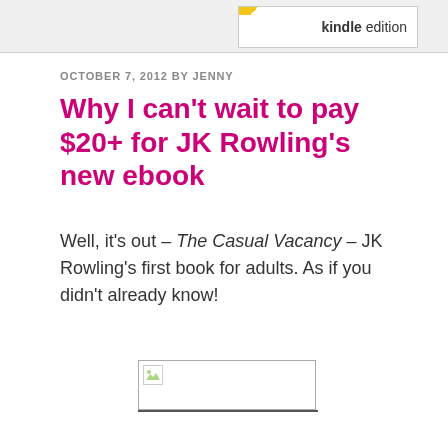[Figure (other): Kindle edition badge/banner in page header area]
OCTOBER 7, 2012 BY JENNY
Why I can't wait to pay $20+ for JK Rowling's new ebook
Well, it's out – The Casual Vacancy – JK Rowling's first book for adults. As if you didn't already know!
[Figure (other): Broken/missing image placeholder with border and underline]